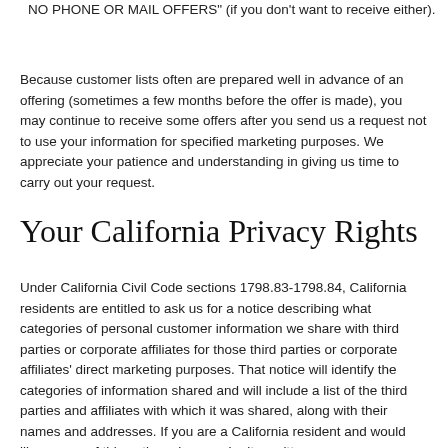NO PHONE OR MAIL OFFERS" (if you don't want to receive either).
Because customer lists often are prepared well in advance of an offering (sometimes a few months before the offer is made), you may continue to receive some offers after you send us a request not to use your information for specified marketing purposes. We appreciate your patience and understanding in giving us time to carry out your request.
Your California Privacy Rights
Under California Civil Code sections 1798.83-1798.84, California residents are entitled to ask us for a notice describing what categories of personal customer information we share with third parties or corporate affiliates for those third parties or corporate affiliates' direct marketing purposes. That notice will identify the categories of information shared and will include a list of the third parties and affiliates with which it was shared, along with their names and addresses. If you are a California resident and would like a copy of this notice, please submit a written